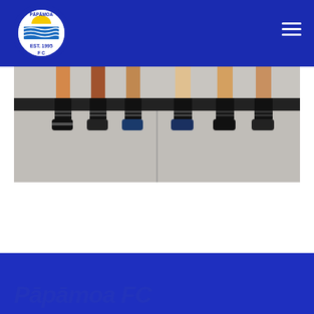[Figure (logo): Pāpāmoa FC circular logo with yellow sun, blue waves, and 'EST. 1995' text on white circle with dark blue border]
[Figure (photo): Close-up photo of soccer players' legs and feet sitting on a bench, wearing black socks and cleats, concrete floor visible below]
Pāpāmoa FC